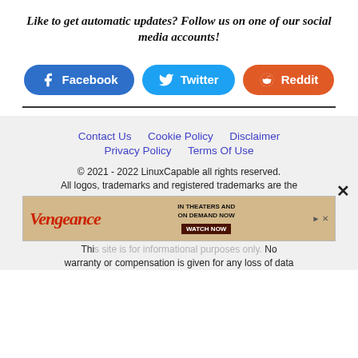Like to get automatic updates? Follow us on one of our social media accounts!
[Figure (infographic): Three social media buttons: Facebook (blue), Twitter (cyan), Reddit (orange-red)]
Contact Us   Cookie Policy   Disclaimer   Privacy Policy   Terms Of Use
© 2021 - 2022 LinuxCapable all rights reserved. All logos, trademarks and registered trademarks are the
[Figure (other): Advertisement banner for Vengeance movie - IN THEATERS AND ON DEMAND NOW WATCH NOW]
Thi... No warranty or compensation is given for any loss of data